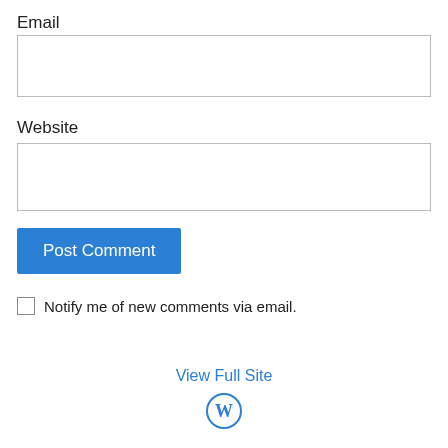Email
[Figure (other): Empty text input field for Email]
Website
[Figure (other): Empty text input field for Website]
[Figure (other): Post Comment button (blue)]
Notify me of new comments via email.
View Full Site
[Figure (logo): WordPress logo icon]